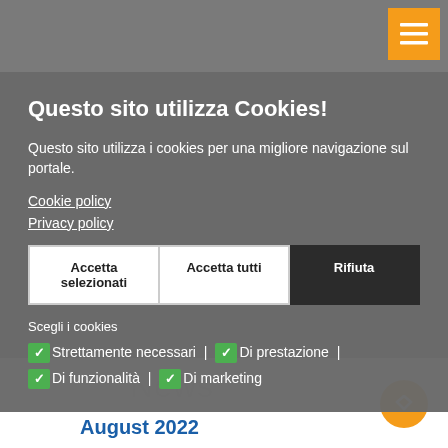[Figure (screenshot): Cookie consent modal overlay on an Italian website. Orange hamburger menu button top-right. Modal with dark gray semi-transparent background contains: title 'Questo sito utilizza Cookies!', body text, Cookie policy and Privacy policy links, three buttons (Accetta selezionati, Accetta tutti, Rifiuta), cookie selection checkboxes. Behind modal: 'News' text and 'August 2022' heading visible.]